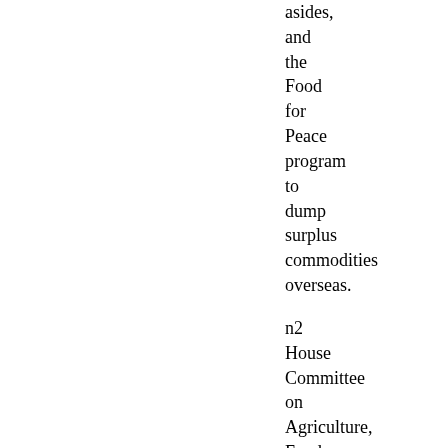asides, and the Food for Peace program to dump surplus commodities overseas.
n2 House Committee on Agriculture, Food Stamp Program, 1958, p. 1.
In